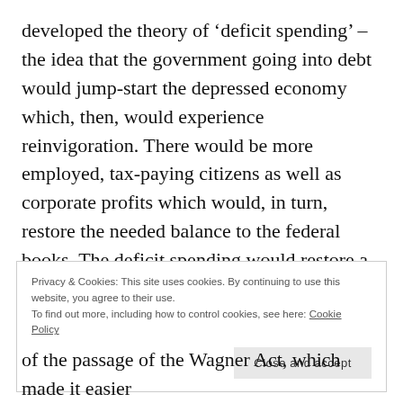developed the theory of ‘deficit spending’ – the idea that the government going into debt would jump-start the depressed economy which, then, would experience reinvigoration. There would be more employed, tax-paying citizens as well as corporate profits which would, in turn, restore the needed balance to the federal books. The deficit spending would restore a solvency that was lost due to the Great Depression.
Privacy & Cookies: This site uses cookies. By continuing to use this website, you agree to their use. To find out more, including how to control cookies, see here: Cookie Policy
Close and accept
of the passage of the Wagner Act, which made it easier